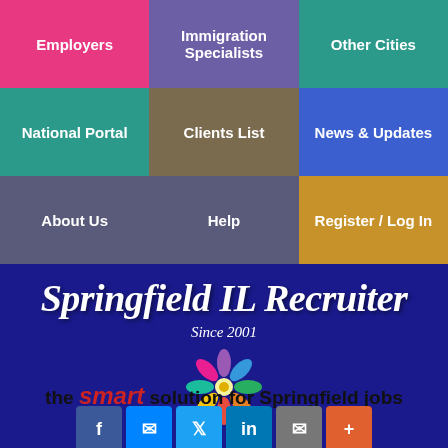[Figure (screenshot): Navigation grid with 9 colored cells: Employers (pink), Immigration Specialists (purple), Other Cities (teal), National Portal (teal), Clients List (olive), News & Updates (blue), About Us (slate), Help (slate), Register / Log In (gold)]
Springfield IL Recruiter Since 2001
[Figure (logo): Colorful flower/people logo with figures in various colors arranged in a circle]
the smart solution for Springfield jobs
[Figure (infographic): Social media sharing buttons: Facebook, Messenger, Twitter, LinkedIn, Email, Plus]